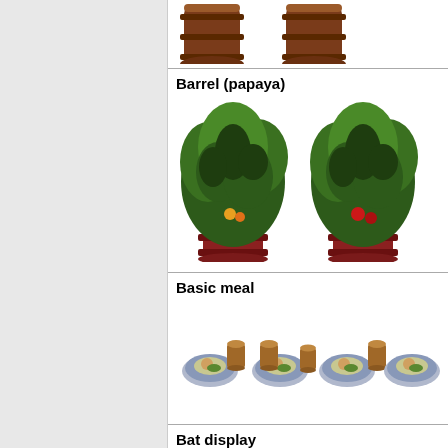[Figure (illustration): Two pixel-art wooden barrels (tops visible, partially cropped at top of page)]
Barrel (papaya)
[Figure (illustration): Two pixel-art papaya barrel plants with large green leafy tops and red barrel bases]
Basic meal
[Figure (illustration): Pixel-art basic meal items: multiple plates of food and wooden cups arranged in a row]
Bat display
[Figure (illustration): Two pixel-art bat display decorations on posts, partially cropped at bottom of page]